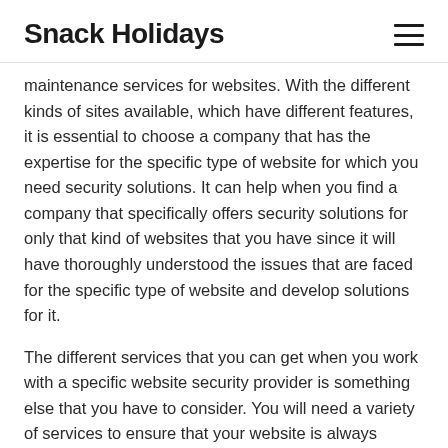Snack Holidays
maintenance services for websites. With the different kinds of sites available, which have different features, it is essential to choose a company that has the expertise for the specific type of website for which you need security solutions. It can help when you find a company that specifically offers security solutions for only that kind of websites that you have since it will have thoroughly understood the issues that are faced for the specific type of website and develop solutions for it.
The different services that you can get when you work with a specific website security provider is something else that you have to consider. You will need a variety of services to ensure that your website is always secure. It is necessary to choose a security solutions provider that takes care of different aspects of security to ensure that